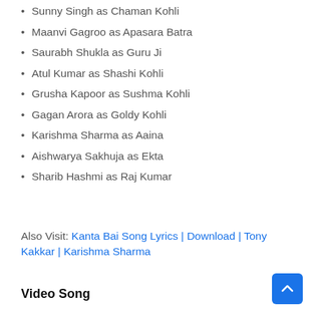Sunny Singh as Chaman Kohli
Maanvi Gagroo as Apasara Batra
Saurabh Shukla as Guru Ji
Atul Kumar as Shashi Kohli
Grusha Kapoor as Sushma Kohli
Gagan Arora as Goldy Kohli
Karishma Sharma as Aaina
Aishwarya Sakhuja as Ekta
Sharib Hashmi as Raj Kumar
Also Visit: Kanta Bai Song Lyrics | Download | Tony Kakkar | Karishma Sharma
Video Song